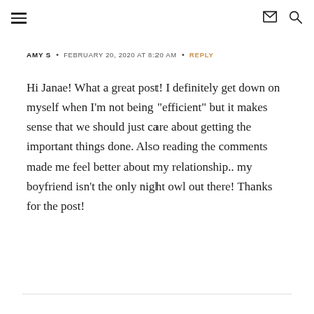Navigation and icons header
AMY S  •  FEBRUARY 20, 2020 AT 8:20 AM  •  REPLY
Hi Janae! What a great post! I definitely get down on myself when I'm not being "efficient" but it makes sense that we should just care about getting the important things done. Also reading the comments made me feel better about my relationship.. my boyfriend isn't the only night owl out there! Thanks for the post!